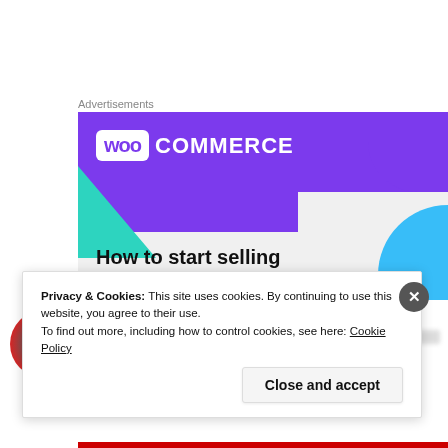Advertisements
[Figure (illustration): WooCommerce advertisement banner showing the WooCommerce logo on a purple background with teal and blue geometric shapes, text reading 'How to start selling subscriptions online']
Privacy & Cookies: This site uses cookies. By continuing to use this website, you agree to their use.
To find out more, including how to control cookies, see here: Cookie Policy
Close and accept